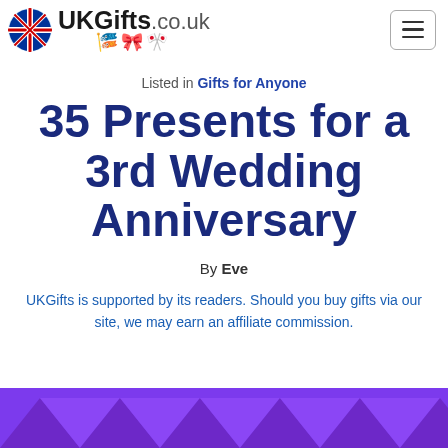UKGifts.co.uk
Listed in Gifts for Anyone
35 Presents for a 3rd Wedding Anniversary
By Eve
UKGifts is supported by its readers. Should you buy gifts via our site, we may earn an affiliate commission.
[Figure (illustration): Purple geometric triangle pattern banner at the bottom of the page]